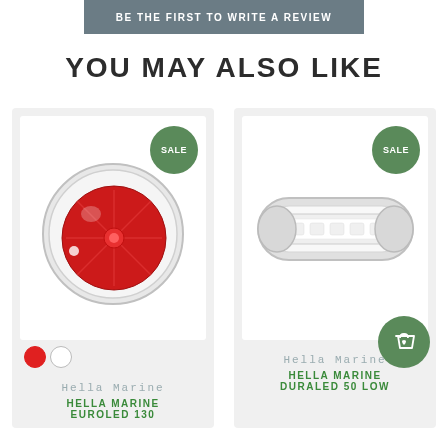BE THE FIRST TO WRITE A REVIEW
YOU MAY ALSO LIKE
[Figure (photo): Product card showing Hella Marine EuroLED 130 red LED light with SALE badge and red/white color swatches]
Hella Marine
HELLA MARINE EUROLED 130
[Figure (photo): Product card showing Hella Marine DuraLED 50 Low light with SALE badge and shopping cart icon]
Hella Marine
HELLA MARINE DURALED 50 LOW